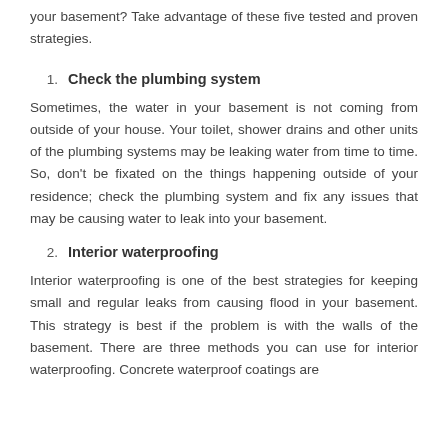your basement? Take advantage of these five tested and proven strategies.
1. Check the plumbing system
Sometimes, the water in your basement is not coming from outside of your house. Your toilet, shower drains and other units of the plumbing systems may be leaking water from time to time. So, don't be fixated on the things happening outside of your residence; check the plumbing system and fix any issues that may be causing water to leak into your basement.
2. Interior waterproofing
Interior waterproofing is one of the best strategies for keeping small and regular leaks from causing flood in your basement. This strategy is best if the problem is with the walls of the basement. There are three methods you can use for interior waterproofing. Concrete waterproof coatings are